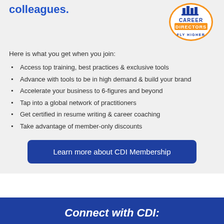colleagues.
[Figure (logo): Career Directors International logo with text 'FLY HIGHER']
Here is what you get when you join:
Access top training, best practices & exclusive tools
Advance with tools to be in high demand & build your brand
Accelerate your business to 6-figures and beyond
Tap into a global network of practitioners
Get certified in resume writing & career coaching
Take advantage of member-only discounts
Learn more about CDI Membership
Connect with CDI:
[Figure (infographic): Social media icons: Facebook, LinkedIn, Twitter, YouTube, Instagram]